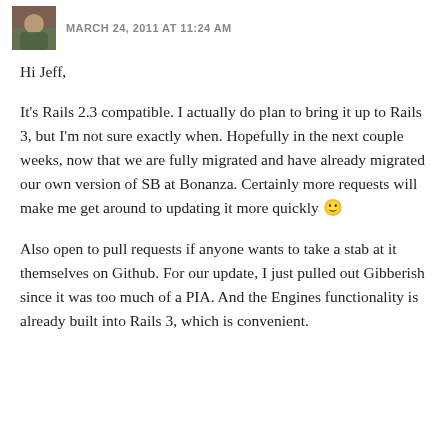MARCH 24, 2011 AT 11:24 AM
Hi Jeff,
It's Rails 2.3 compatible. I actually do plan to bring it up to Rails 3, but I'm not sure exactly when. Hopefully in the next couple weeks, now that we are fully migrated and have already migrated our own version of SB at Bonanza. Certainly more requests will make me get around to updating it more quickly 🙂
Also open to pull requests if anyone wants to take a stab at it themselves on Github. For our update, I just pulled out Gibberish since it was too much of a PIA. And the Engines functionality is already built into Rails 3, which is convenient.